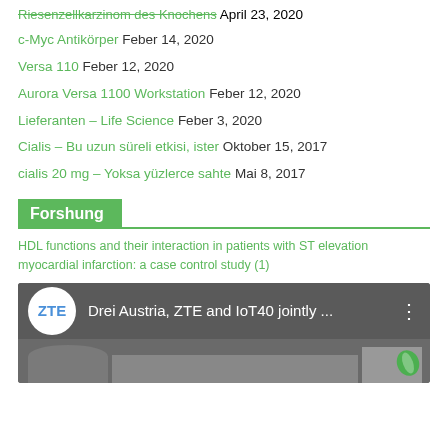Riesenzellkarzinom des Knochens April 23, 2020
c-Myc Antikörper Feber 14, 2020
Versa 110 Feber 12, 2020
Aurora Versa 1100 Workstation Feber 12, 2020
Lieferanten – Life Science Feber 3, 2020
Cialis – Bu uzun süreli etkisi, ister Oktober 15, 2017
cialis 20 mg – Yoksa yüzlerce sahte Mai 8, 2017
Forshung
HDL functions and their interaction in patients with ST elevation myocardial infarction: a case control study (1)
[Figure (screenshot): Video thumbnail showing ZTE logo circle, title 'Drei Austria, ZTE and IoT40 jointly ...' with three-dot menu, and a video still with people in foreground and a green leaf logo in corner]